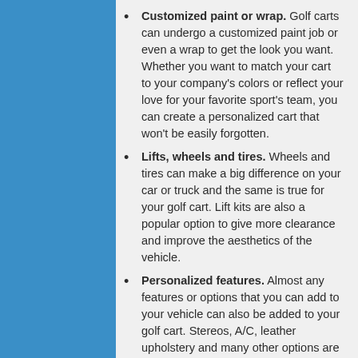Customized paint or wrap. Golf carts can undergo a customized paint job or even a wrap to get the look you want. Whether you want to match your cart to your company's colors or reflect your love for your favorite sport's team, you can create a personalized cart that won't be easily forgotten.
Lifts, wheels and tires. Wheels and tires can make a big difference on your car or truck and the same is true for your golf cart. Lift kits are also a popular option to give more clearance and improve the aesthetics of the vehicle.
Personalized features. Almost any features or options that you can add to your vehicle can also be added to your golf cart. Stereos, A/C, leather upholstery and many other options are available to stylize your cart.
Don't settle for a plain golf cart. Make a statement with a customized cart that will be as unique as you are.